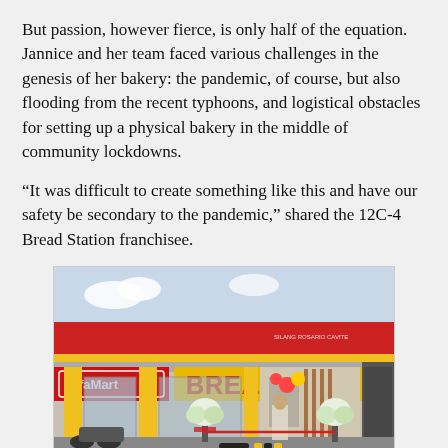But passion, however fierce, is only half of the equation. Jannice and her team faced various challenges in the genesis of her bakery: the pandemic, of course, but also flooding from the recent typhoons, and logistical obstacles for setting up a physical bakery in the middle of community lockdowns.
“It was difficult to create something like this and have our safety be secondary to the pandemic,” shared the 12C-4 Bread Station franchisee.
[Figure (photo): Exterior photo of a 12C-4 Bread Station storefront co-located with an Alfamart store. The building has a red and yellow facade with large signage reading 'BREAD STATION'. Yellow pillars are visible, and there are floral arrangements and balloons at the entrance suggesting a grand opening event. A person stands near the ribbon for a ribbon-cutting ceremony.]
MUTUAL GROWTH. Alfamart’s “local jewel” partners, like 12C-4 Bread Station in Silang near Rosario, Cavite, attract locals to the store.